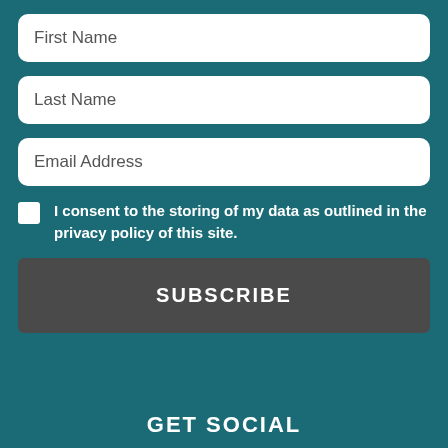First Name
Last Name
Email Address
I consent to the storing of my data as outlined in the privacy policy of this site.
SUBSCRIBE
GET SOCIAL